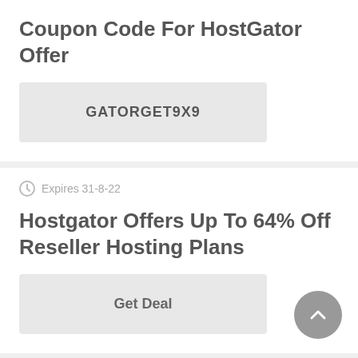Coupon Code For HostGator Offer
GATORGET9X9
Expires 31-8-22
Hostgator Offers Up To 64% Off Reseller Hosting Plans
Get Deal
Expires 31-8-22